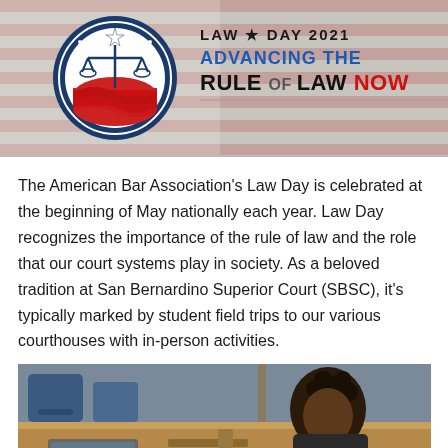[Figure (illustration): Law Day 2021 banner with ABA logo (scales of justice in blue/red circle) and text 'LAW DAY 2021 ADVANCING THE RULE OF LAW NOW' on an American flag background]
The American Bar Association's Law Day is celebrated at the beginning of May nationally each year. Law Day recognizes the importance of the rule of law and the role that our court systems play in society. As a beloved tradition at San Bernardino Superior Court (SBSC), it's typically marked by student field trips to our various courthouses with in-person activities.
[Figure (photo): Photo of a person with curly hair seated at a wooden courtroom bench/desk, with blue office chairs and laptop visible in background courtroom setting]